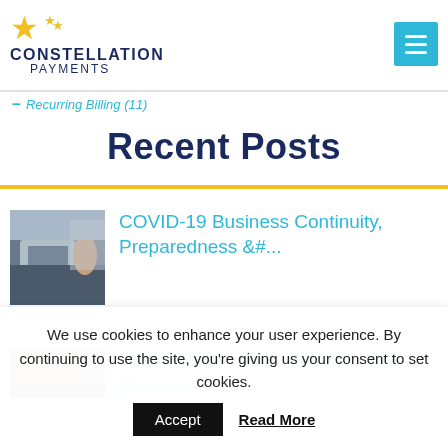Constellation Payments
Recurring Billing (11)
Recent Posts
[Figure (photo): Person working on a laptop near a window]
COVID-19 Business Continuity, Preparedness &#...
[Figure (photo): Group of business people]
How to Fast-Track Your New Year Business
We use cookies to enhance your user experience. By continuing to use the site, you're giving us your consent to set cookies.